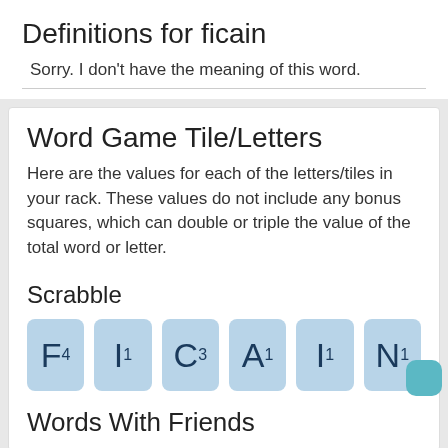Definitions for ficain
Sorry. I don't have the meaning of this word.
Word Game Tile/Letters
Here are the values for each of the letters/tiles in your rack. These values do not include any bonus squares, which can double or triple the value of the total word or letter.
Scrabble
[Figure (infographic): Scrabble tile values for the word FICAIN: F4, I1, C3, A1, I1, N1]
Words With Friends